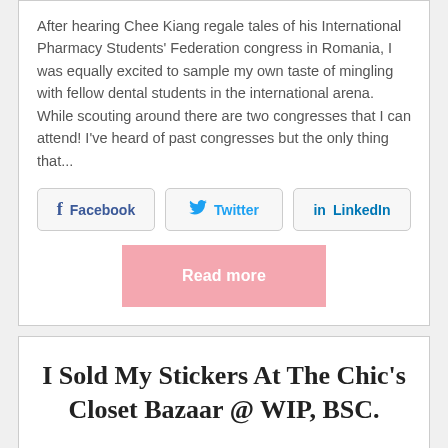After hearing Chee Kiang regale tales of his International Pharmacy Students' Federation congress in Romania, I was equally excited to sample my own taste of mingling with fellow dental students in the international arena. While scouting around there are two congresses that I can attend! I've heard of past congresses but the only thing that...
[Figure (other): Social sharing buttons: Facebook, Twitter, LinkedIn]
[Figure (other): Pink 'Read more' button]
I Sold My Stickers At The Chic's Closet Bazaar @ WIP, BSC.
Posted on August 22, 2008 by Jolene